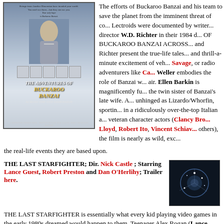[Figure (photo): Movie poster for The Adventures of Buckaroo Banzai Across the 8th Dimension]
The efforts of Buckaroo Banzai and his team to save the planet from the imminent threat of conquer by the Red Lectroids were documented by writer Earl Mac Rauch and director W.D. Richter in their 1984 documentary THE ADVENTURES OF BUCKAROO BANZAI ACROSS THE 8TH DIMENSION. Rauch and Richter present the true-life tales of danger and thrill-a-minute excitement of vehicular daredevils like Doc Savage, or radio adventurers like Ca… Weller embodies the role of Banzai with magnificent air. Ellen Barkin is magnificently funny and lovely as the twin sister of Banzai's late wife. A… unhinged as Lizardo/Whorfin, sporting… in a ridiculously over-the-top Italian a… veteran character actors (Clancy Bro… Lloyd, Robert Ito, Vincent Schiavo… others), the film is nearly as wild, exc… the real-life events they are based upon.
THE LAST STARFIGHTER; Dir. Nick Castle; Starring Lance Guest, Robert Preston and Dan O'Herlihy; Trailer here.
[Figure (photo): Space/sci-fi image related to The Last Starfighter, dark background with light effects]
THE LAST STARFIGHTER is essentially what every kid playing video games in the early 1980s dreamed would happen to them. Teenager Alex Rogan (Lance…